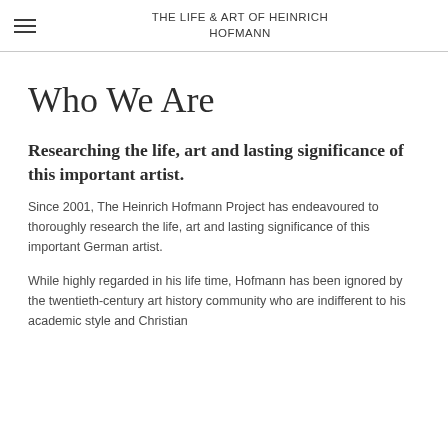THE LIFE & ART OF HEINRICH HOFMANN
Who We Are
Researching the life, art and lasting significance of this important artist.
Since 2001, The Heinrich Hofmann Project has endeavoured to thoroughly research the life, art and lasting significance of this important German artist.
While highly regarded in his life time, Hofmann has been ignored by the twentieth-century art history community who are indifferent to his academic style and Christian